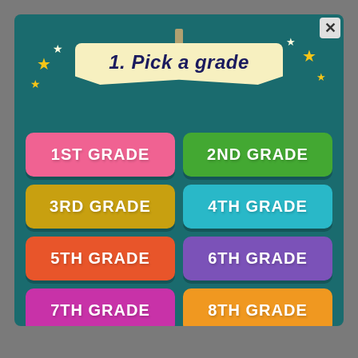1. Pick a grade
1ST GRADE
2ND GRADE
3RD GRADE
4TH GRADE
5TH GRADE
6TH GRADE
7TH GRADE
8TH GRADE